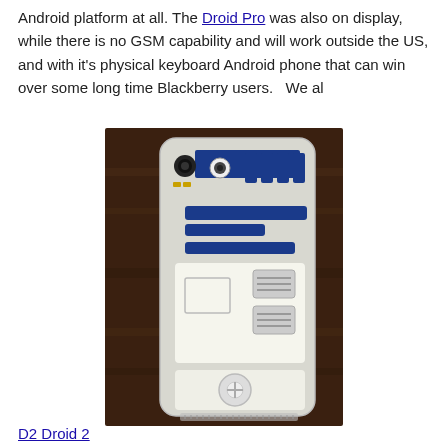Android platform at all. The Droid Pro was also on display, while there is no GSM capability and will work outside the US, and with it's physical keyboard Android phone that can win over some long time Blackberry users.   We al
[Figure (photo): A smartphone with an R2-D2 (Star Wars) themed back cover, placed on a wooden surface. The case features the iconic R2-D2 design with blue and white panels.]
D2 Droid 2